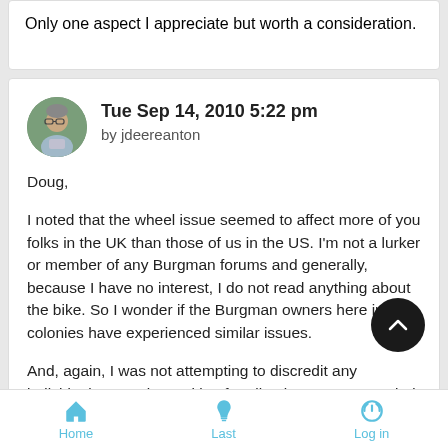Only one aspect I appreciate but worth a consideration.
Tue Sep 14, 2010 5:22 pm
by jdeereanton
Doug,

I noted that the wheel issue seemed to affect more of you folks in the UK than those of us in the US. I'm not a lurker or member of any Burgman forums and generally, because I have no interest, I do not read anything about the bike. So I wonder if the Burgman owners here in the colonies have experienced similar issues.

And, again, I was not attempting to discredit any individual poster, just asking for all to keep an open mind, odd eh, since I do
Home  Last  Log in